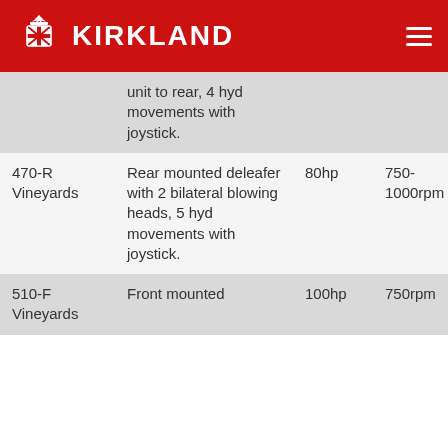KIRKLAND
| Model | Description | Power | PTO Speed |  |
| --- | --- | --- | --- | --- |
|  | unit to rear, 4 hyd movements with joystick. |  |  |  |
| 470-R Vineyards | Rear mounted deleafer with 2 bilateral blowing heads, 5 hyd movements with joystick. | 80hp | 750-1000rpm | 4 |
| 510-F Vineyards | Front mounted | 100hp | 750rpm | 4 |